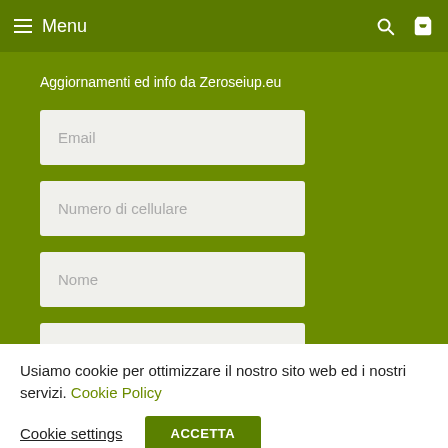Menu
Aggiornamenti ed info da Zeroseiup.eu
Email
Numero di cellulare
Nome
Cognome
Usiamo cookie per ottimizzare il nostro sito web ed i nostri servizi. Cookie Policy
Cookie settings
ACCETTA